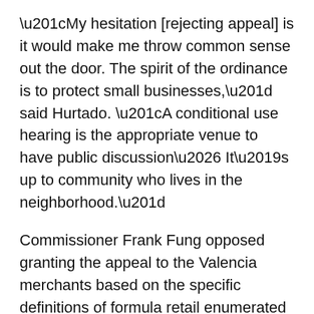“My hesitation [rejecting appeal] is it would make me throw common sense out the door. The spirit of the ordinance is to protect small businesses,” said Hurtado. “A conditional use hearing is the appropriate venue to have public discussion… It’s up to community who lives in the neighborhood.”
Commissioner Frank Fung opposed granting the appeal to the Valencia merchants based on the specific definitions of formula retail enumerated in the Planning Code.
“In this instance, if there is a specific code then people need to be able to rely on it,” Fung said, explaining that Jack Spade simply didn’t have